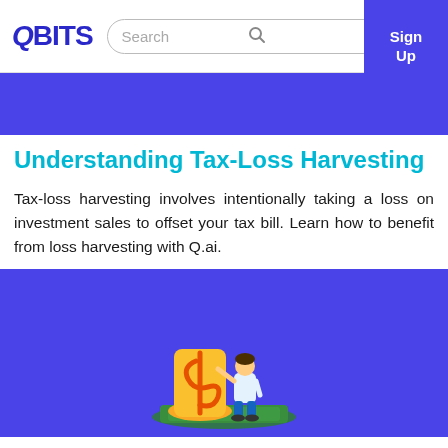QBITS | Search | Sign Up
[Figure (other): Blue banner strip at top of article]
Understanding Tax-Loss Harvesting
Tax-loss harvesting involves intentionally taking a loss on investment sales to offset your tax bill. Learn how to benefit from loss harvesting with Q.ai.
[Figure (illustration): Illustration on blue background showing a person standing on a stack of money next to a large golden dollar sign symbol]